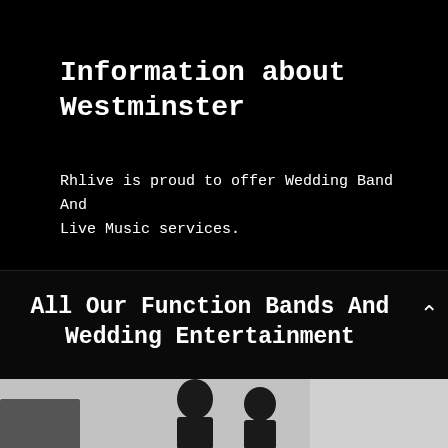Information about Westminster
Rhlive is proud to offer Wedding Band And Live Music services.
All Our Function Bands And Wedding Entertainment
Click on the bands below to watch a video and get more information.
[Figure (photo): Photo strip at bottom showing silhouettes/people against a light grey background]